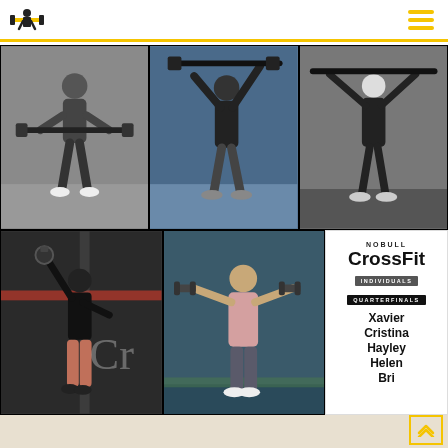NOBULL CrossFit Individuals Quarterfinals — Xavier, Cristina, Hayley, Helen, Bri
[Figure (photo): Collage of five CrossFit athletes performing weightlifting exercises in gym settings. Top row: male athlete doing barbell curl, female athlete doing barbell snatch, female athlete doing overhead press. Bottom row: female athlete doing kettlebell swing, female athlete doing dumbbell press.]
NOBULL
CrossFit
INDIVIDUALS
QUARTERFINALS
Xavier
Cristina
Hayley
Helen
Bri